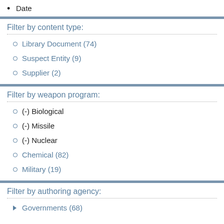Date
Filter by content type:
Library Document (74)
Suspect Entity (9)
Supplier (2)
Filter by weapon program:
(-) Biological
(-) Missile
(-) Nuclear
Chemical (82)
Military (19)
Filter by authoring agency:
Governments (68)